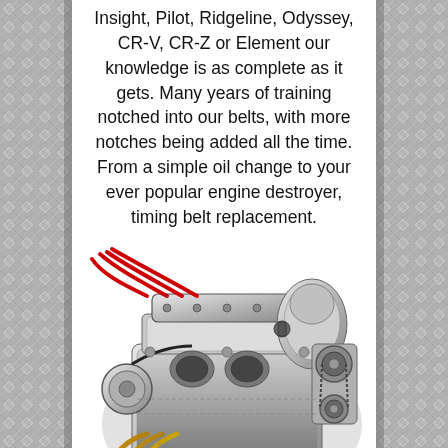Insight, Pilot, Ridgeline, Odyssey, CR-V, CR-Z or Element our knowledge is as complete as it gets. Many years of training notched into our belts, with more notches being added all the time. From a simple oil change to your ever popular engine destroyer, timing belt replacement.
[Figure (photo): Detailed cutaway/exploded view photo of a Honda car engine showing internal components, with red spark plug wires visible, on a white background.]